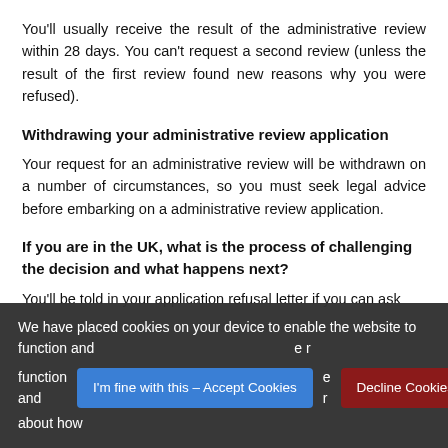You'll usually receive the result of the administrative review within 28 days. You can't request a second review (unless the result of the first review found new reasons why you were refused).
Withdrawing your administrative review application
Your request for an administrative review will be withdrawn on a number of circumstances, so you must seek legal advice before embarking on a administrative review application.
If you are in the UK, what is the process of challenging the decision and what happens next?
You'll be told in your application refusal letter if you can ask
We have placed cookies on your device to enable the website to function and … e r… about how